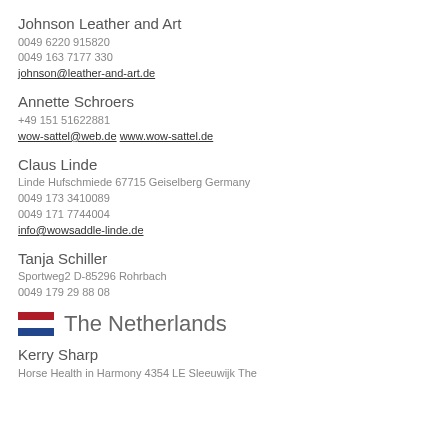Johnson Leather and Art
0049 6220 915820
0049 163 7177 330
johnson@leather-and-art.de
Annette Schroers
+49 151 51622881
wow-sattel@web.de www.wow-sattel.de
Claus Linde
Linde Hufschmiede 67715 Geiselberg Germany
0049 173 3410089
0049 171 7744004
info@wowsaddle-linde.de
Tanja Schiller
Sportweg2 D-85296 Rohrbach
0049 179 29 88 08
The Netherlands
Kerry Sharp
Home Health in Harmony 4354 LE Sleeuwijk The...